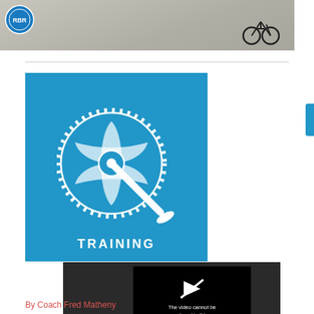[Figure (photo): Top banner image showing a road/cycling scene with a bicycle visible and an RBR badge logo in the upper left corner]
[Figure (logo): Blue square Training category icon with white bicycle gear/crankset illustration and the word TRAINING in white capital letters below]
[Figure (screenshot): Video player showing error message: The video cannot be played in this browser. (Error Code: 242632) with a play arrow icon above the text]
By Coach Fred Matheny